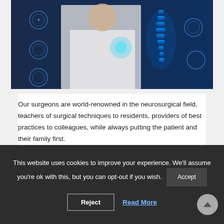[Figure (photo): A doctor in white coat touching a glowing blue digital spine model with medical technology icons overlaid on a dark blue background]
Our surgeons are world-renowned in the neurosurgical field, teachers of surgical techniques to residents, providers of best practices to colleagues, while always putting the patient and their family first.
This website uses cookies to improve your experience. We'll assume you're ok with this, but you can opt-out if you wish.